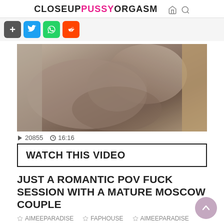CLOSEUPPUSSYORGASM
[Figure (screenshot): Social sharing buttons: plus, Twitter, WhatsApp, Reddit]
[Figure (photo): Video thumbnail showing a mature couple in an intimate scene]
▷ 20855 🕐 16:16
WATCH THIS VIDEO
JUST A ROMANTIC POV FUCK SESSION WITH A MATURE MOSCOW COUPLE
AIMEEPARADISE   FAPHOUSE   AIMEEPARADISE